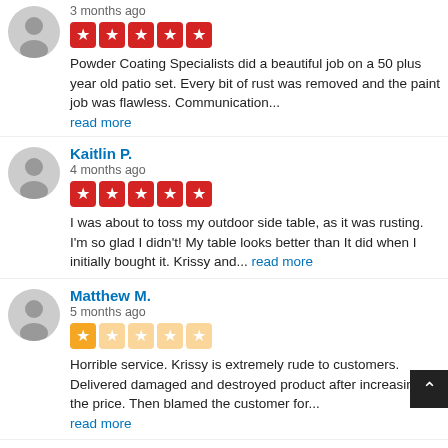3 months ago
Powder Coating Specialists did a beautiful job on a 50 plus year old patio set. Every bit of rust was removed and the paint job was flawless. Communication... read more
Kaitlin P.
4 months ago
I was about to toss my outdoor side table, as it was rusting. I'm so glad I didn't! My table looks better than It did when I initially bought it. Krissy and... read more
Matthew M.
5 months ago
Horrible service. Krissy is extremely rude to customers. Delivered damaged and destroyed product after increasing the price. Then blamed the customer for... read more
Matt Z.
5 months ago
Our vintage Woodard wrought iron furniture